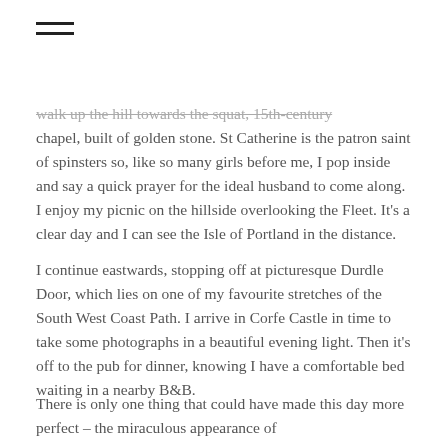≡ (hamburger menu icon)
walk up the hill towards the squat, 15th-century chapel, built of golden stone. St Catherine is the patron saint of spinsters so, like so many girls before me, I pop inside and say a quick prayer for the ideal husband to come along. I enjoy my picnic on the hillside overlooking the Fleet. It's a clear day and I can see the Isle of Portland in the distance.
I continue eastwards, stopping off at picturesque Durdle Door, which lies on one of my favourite stretches of the South West Coast Path. I arrive in Corfe Castle in time to take some photographs in a beautiful evening light. Then it's off to the pub for dinner, knowing I have a comfortable bed waiting in a nearby B&B.
There is only one thing that could have made this day more perfect – the miraculous appearance of